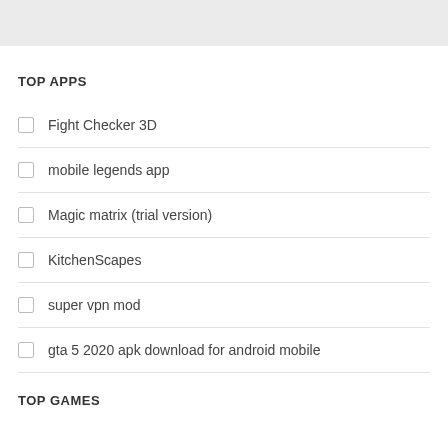TOP APPS
Fight Checker 3D
mobile legends app
Magic matrix (trial version)
KitchenScapes
super vpn mod
gta 5 2020 apk download for android mobile
TOP GAMES